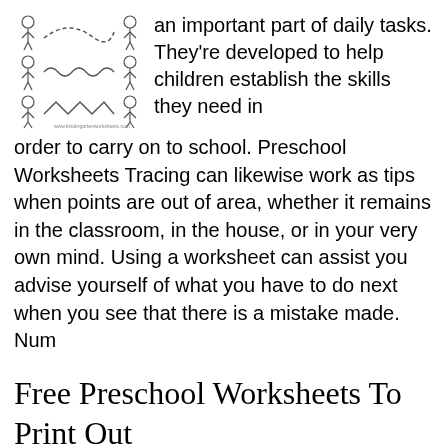[Figure (illustration): Preschool tracing worksheet illustration showing children with wavy/zigzag tracing lines]
an important part of daily tasks. They're developed to help children establish the skills they need in order to carry on to school. Preschool Worksheets Tracing can likewise work as tips when points are out of area, whether it remains in the classroom, in the house, or in your very own mind. Using a worksheet can assist you advise yourself of what you have to do next when you see that there is a mistake made. Num
Free Preschool Worksheets To Print Out
[Figure (illustration): Small thumbnail of a preschool worksheet - numbers worksheet showing number 1 with header text]
Free Preschool Worksheets To